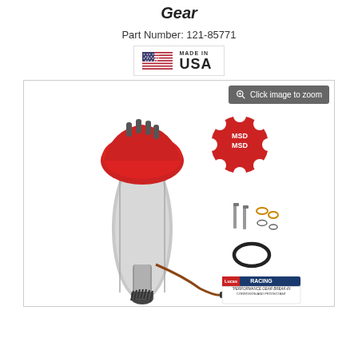Gear
Part Number: 121-85771
[Figure (photo): Made in USA flag badge with American flag icon and text 'MADE IN USA']
[Figure (photo): MSD distributor with red cap and silver body, shown with hardware kit components including MSD gear, bolts, o-ring, and Lucas Racing Performance Gear Break-In lubricant packet. Product photo on white background with 'Click image to zoom' overlay button.]